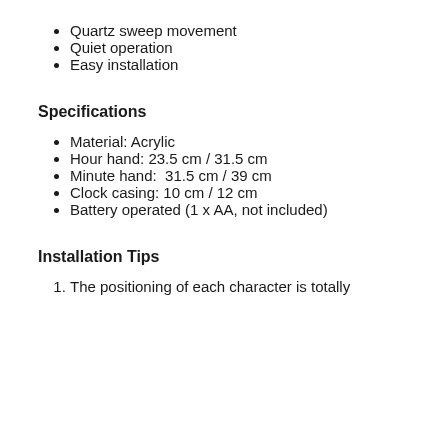Quartz sweep movement
Quiet operation
Easy installation
Specifications
Material: Acrylic
Hour hand: 23.5 cm / 31.5 cm
Minute hand:  31.5 cm / 39 cm
Clock casing: 10 cm / 12 cm
Battery operated (1 x AA, not included)
Installation Tips
The positioning of each character is totally